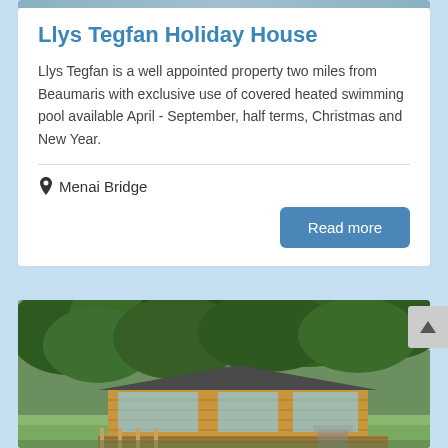Llys Tegfan Holiday House
Llys Tegfan is a well appointed property two miles from Beaumaris with exclusive use of covered heated swimming pool available April - September, half terms, Christmas and New Year.
Menai Bridge
Read more
[Figure (photo): Exterior photograph of a timber lodge/holiday cabin with a dark roof and wooden deck, surrounded by large mature trees with a blue sky visible in the background.]